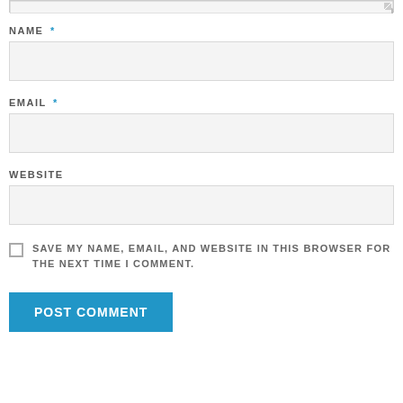[textarea top stub]
NAME *
[Figure (other): Empty text input field for NAME]
EMAIL *
[Figure (other): Empty text input field for EMAIL]
WEBSITE
[Figure (other): Empty text input field for WEBSITE]
SAVE MY NAME, EMAIL, AND WEBSITE IN THIS BROWSER FOR THE NEXT TIME I COMMENT.
POST COMMENT